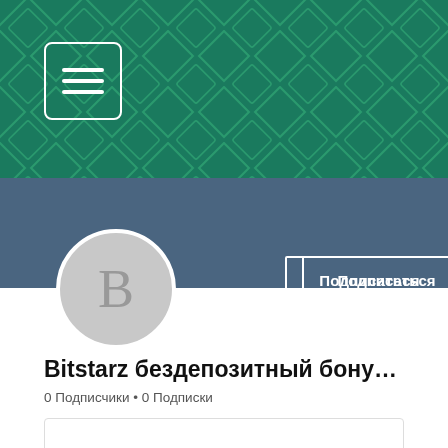[Figure (screenshot): Teal green banner header with diamond/rhombus geometric pattern and white menu icon (hamburger) in a white-bordered rounded square, in top-left area]
[Figure (screenshot): Slate blue sub-header bar with white 'Подписаться' (Subscribe) button and vertical three-dot menu icon on the right]
[Figure (screenshot): Grey circular avatar with letter B, partially overlapping header and sub-header]
Bitstarz бездепозитный бону…
0 Подписчики • 0 Подписки
[Figure (screenshot): White rounded rectangle card with chevron down arrow on right and blue circular floating action button with three horizontal dots (chat icon) overlapping from below]
Профиль